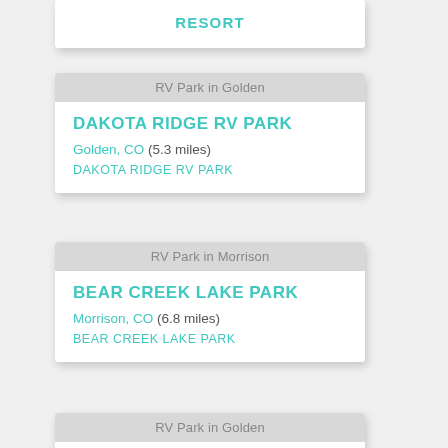RESORT
RV Park in Golden
DAKOTA RIDGE RV PARK
Golden, CO (5.3 miles)
DAKOTA RIDGE RV PARK
RV Park in Morrison
BEAR CREEK LAKE PARK
Morrison, CO (6.8 miles)
BEAR CREEK LAKE PARK
RV Park in Golden
CHIEF HOSA LODGE AND CAMPGROUND